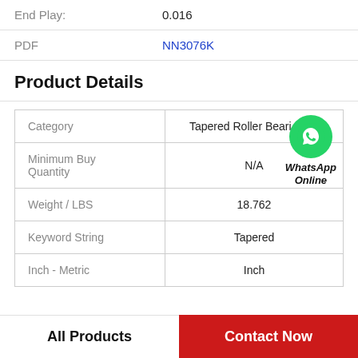|  |  |
| --- | --- |
| End Play: | 0.016 |
| PDF | NN3076K |
Product Details
| Category | Value |
| --- | --- |
| Category | Tapered Roller Beari |
| Minimum Buy Quantity | N/A |
| Weight / LBS | 18.762 |
| Keyword String | Tapered |
| Inch - Metric | Inch |
WhatsApp Online
All Products | Contact Now